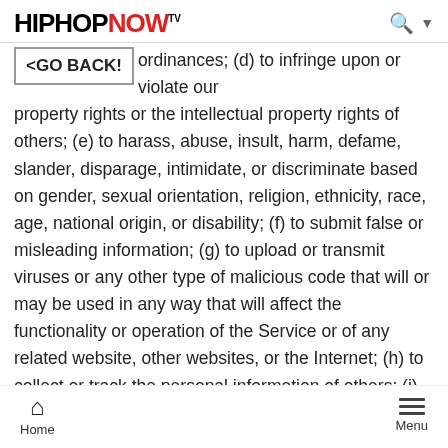HIPHOPNOW tv
ordinances; (d) to infringe upon or violate our property rights or the intellectual property rights of others; (e) to harass, abuse, insult, harm, defame, slander, disparage, intimidate, or discriminate based on gender, sexual orientation, religion, ethnicity, race, age, national origin, or disability; (f) to submit false or misleading information; (g) to upload or transmit viruses or any other type of malicious code that will or may be used in any way that will affect the functionality or operation of the Service or of any related website, other websites, or the Internet; (h) to collect or track the personal information of others; (i) to spam, phish, pharm, pretext, spider, crawl, or scrape; (j) for any obscene or immoral purpose; or (k) to interfere with or circumvent the security features of the Service or any related website,
Home  Menu